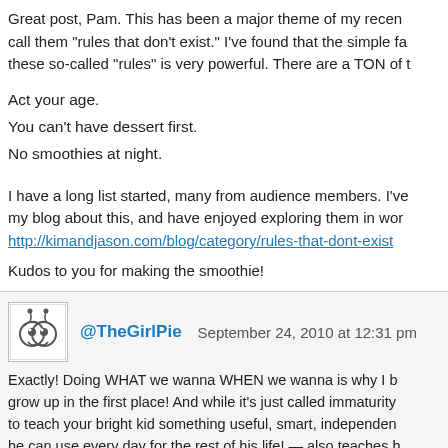Great post, Pam. This has been a major theme of my recent call them “rules that don’t exist.” I’ve found that the simple fa these so-called “rules” is very powerful. There are a TON of t
Act your age.
You can't have dessert first.
No smoothies at night.
I have a long list started, many from audience members. I’ve my blog about this, and have enjoyed exploring them in wor http://kimandjason.com/blog/category/rules-that-dont-exist
Kudos to you for making the smoothie!
@TheGirlPie   September 24, 2010 at 12:31 pm
Exactly! Doing WHAT we wanna WHEN we wanna is why I b grow up in the first place! And while it’s just called immaturity to teach your bright kid something useful, smart, independen he can use every day for the rest of his life! — also teaches h rules to pay attention to are those that* serve* if if they’re “no does it.” And THATIs what being a grown-up can her makin